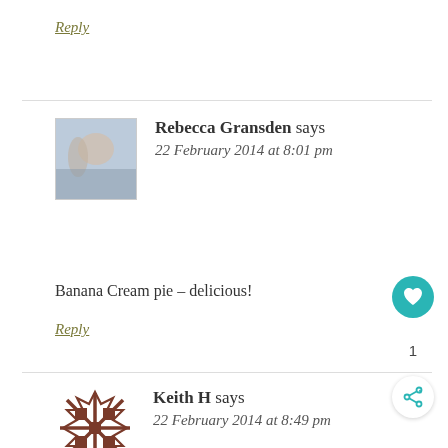Reply
Rebecca Gransden says
22 February 2014 at 8:01 pm
Banana Cream pie – delicious!
Reply
Keith H says
22 February 2014 at 8:49 pm